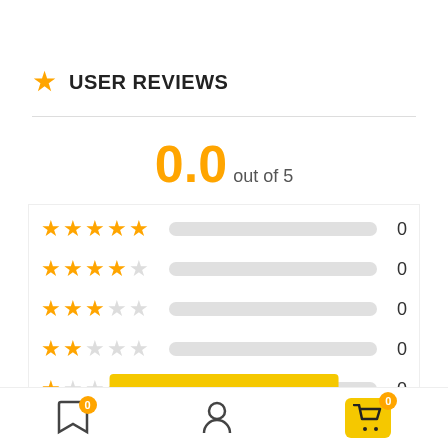USER REVIEWS
0.0 out of 5
[Figure (infographic): Star rating breakdown: 5-star: 0, 4-star: 0, 3-star: 0, 2-star: 0, 1-star: 0, all bars empty]
WRITE A REVIEW
Bottom navigation bar with bookmark (0), user, and cart (0) icons